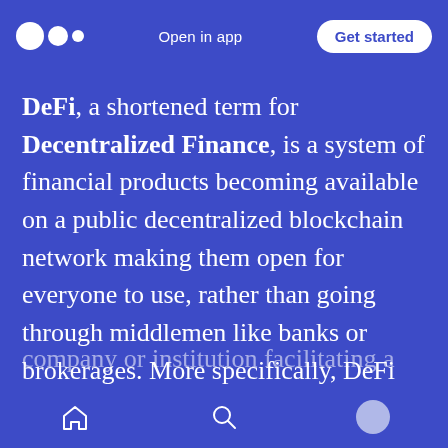Open in app  Get started
DeFi, a shortened term for Decentralized Finance, is a system of financial products becoming available on a public decentralized blockchain network making them open for everyone to use, rather than going through middlemen like banks or brokerages. More specifically, DeFi refers to a system by which software written on blockchains makes it possible for buyers, sellers, lenders, and borrowers to interact peer to peer or with a strictly software-based middleman rather than a company or institution facilitating a transaction
Home  Search  Profile